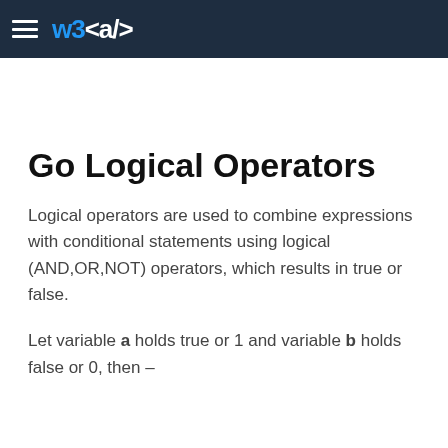w3<a/>
Go Logical Operators
Logical operators are used to combine expressions with conditional statements using logical (AND,OR,NOT) operators, which results in true or false.
Let variable a holds true or 1 and variable b holds false or 0, then –